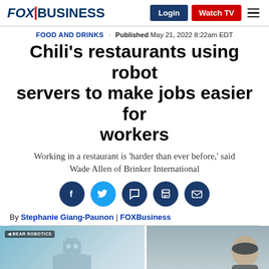FOX BUSINESS | Login | Watch TV
FOOD AND DRINKS · Published May 21, 2022 8:22am EDT
Chili's restaurants using robot servers to make jobs easier for workers
Working in a restaurant is 'harder than ever before,' said Wade Allen of Brinker International
[Figure (infographic): Social media share icons: Facebook, Twitter, Comment, Print, Email]
By Stephanie Giang-Paunon | FOXBusiness
[Figure (photo): Split screen image: left shows a robot with Bear Robotics watermark in a blurred restaurant setting, right shows a bald man (Wade Allen) in a video interview format]